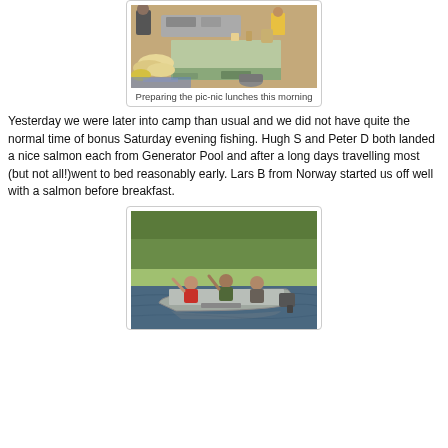[Figure (photo): People preparing food in a kitchen, with bread loaves and kitchen equipment on a counter]
Preparing the pic-nic lunches this morning
Yesterday we were later into camp than usual and we did not have quite the normal time of bonus Saturday evening fishing. Hugh S and Peter D both landed a nice salmon each from Generator Pool and after a long days travelling most (but not all!)went to bed reasonably early. Lars B from Norway started us off well with a salmon before breakfast.
[Figure (photo): Three people in a motorboat on a river, two waving, with green trees on the bank behind them]